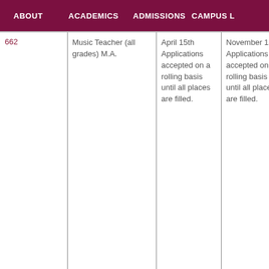ABOUT | ACADEMICS | ADMISSIONS | CAMPUS L
| ABOUT | ACADEMICS | ADMISSIONS | CAMPUS L |  |
| --- | --- | --- | --- | --- |
| 662 | Music Teacher (all grades) M.A. | April 15th Applications accepted on a rolling basis until all places are filled. | November 1st Applications accepted on a rolling basis until all places are filled. | none |